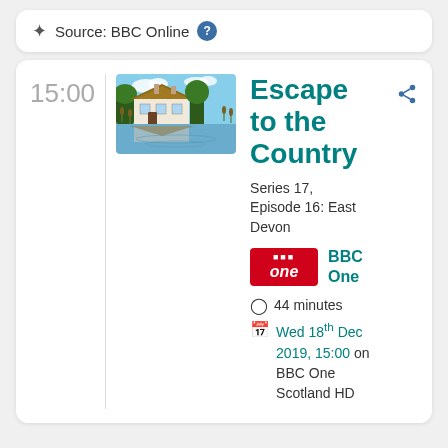Source: BBC Online
15:00
[Figure (photo): A thatched country cottage reflected in a calm pond, surrounded by trees and reeds]
Escape to the Country
Series 17, Episode 16: East Devon
BBC One
44 minutes
Wed 18th Dec 2019, 15:00 on BBC One Scotland HD